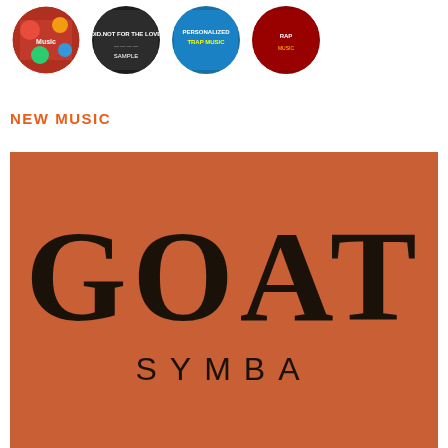[Figure (illustration): Four circular album art thumbnails arranged in a row at the top of the page, showing colorful music-related imagery]
NEW MUSIC
[Figure (illustration): Album cover for 'GOAT' by Symba. Terracotta/rust orange background with large black serif text 'GOAT' and smaller spaced sans-serif text 'SYMBA' below it.]